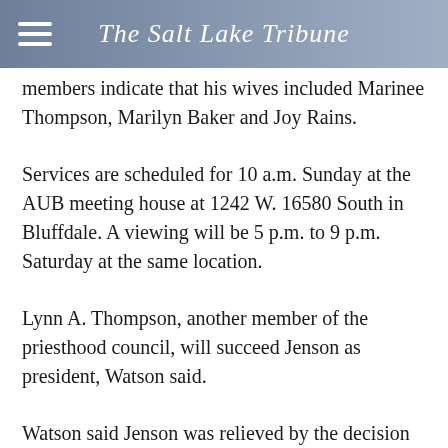The Salt Lake Tribune
members indicate that his wives included Marinee Thompson, Marilyn Baker and Joy Rains.
Services are scheduled for 10 a.m. Sunday at the AUB meeting house at 1242 W. 16580 South in Bluffdale. A viewing will be 5 p.m. to 9 p.m. Saturday at the same location.
Lynn A. Thompson, another member of the priesthood council, will succeed Jenson as president, Watson said.
Watson said Jenson was relieved by the decision in the